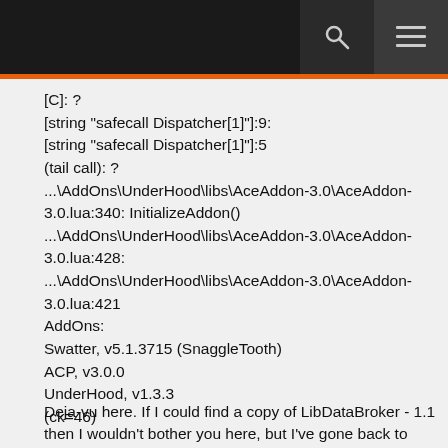[C]: ?
[string "safecall Dispatcher[1]"]:9:
[string "safecall Dispatcher[1]"]:5
(tail call): ?
...\AddOns\UnderHood\libs\AceAddon-3.0\AceAddon-3.0.lua:340: InitializeAddon()
...\AddOns\UnderHood\libs\AceAddon-3.0\AceAddon-3.0.lua:428:
...\AddOns\UnderHood\libs\AceAddon-3.0\AceAddon-3.0.lua:421
AddOns:
Swatter, v5.1.3715 (SnaggleTooth)
ACP, v3.0.0
UnderHood, v1.3.3
(ck=46)
Deja-vu here. If I could find a copy of LibDataBroker - 1.1 then I wouldn't bother you here, but I've gone back to